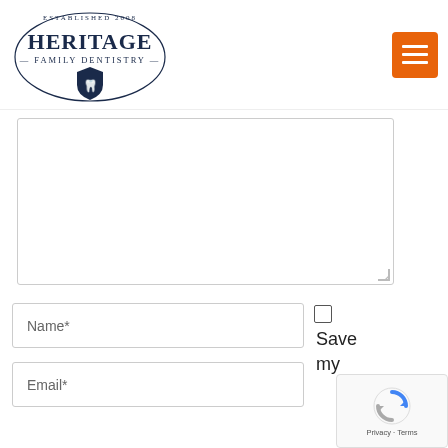[Figure (logo): Heritage Family Dentistry logo — oval border with 'ESTABLISHED 2008' text at top, large 'HERITAGE' in navy bold, '— FAMILY DENTISTRY —' beneath, shield with tooth icon at bottom]
[Figure (other): Orange hamburger menu button (three white horizontal lines)]
[Figure (other): Empty textarea / comment input box with resize handle]
Name*
Email*
Save my
[Figure (other): reCAPTCHA badge with spinning arrow icon and 'Privacy - Terms' footer]